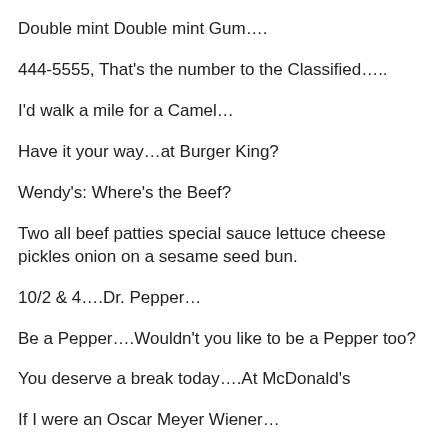Double mint Double mint Gum….
444-5555, That's the number to the Classified…..
I'd walk a mile for a Camel…
Have it your way…at Burger King?
Wendy's: Where's the Beef?
Two all beef patties special sauce lettuce cheese pickles onion on a sesame seed bun.
10/2 & 4….Dr. Pepper…
Be a Pepper….Wouldn't you like to be a Pepper too?
You deserve a break today….At McDonald's
If I were an Oscar Meyer Wiener…